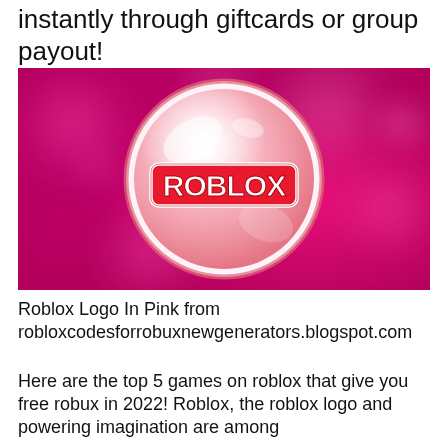instantly through giftcards or group payout!
[Figure (illustration): Roblox logo on a pink/magenta bokeh background. A large circular bubble-like sphere in coral pink with a white border contains the red ROBLOX logo text with white outline in the center.]
Roblox Logo In Pink from robloxcodesforrobuxnewgenerators.blogspot.com
Here are the top 5 games on roblox that give you free robux in 2022! Roblox, the roblox logo and powering imagination are among